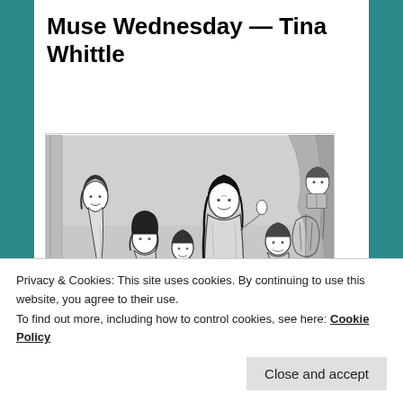Muse Wednesday — Tina Whittle
Posted on April 10, 2013
[Figure (illustration): Black and white pen-and-ink illustration of six women in ancient Greek / classical style dress, reminiscent of the nine Muses. The women are posed in a group with flowing robes and curly hair; some hold objects such as a book/scroll and a lyre. The style is detailed line art.]
Privacy & Cookies: This site uses cookies. By continuing to use this website, you agree to their use.
To find out more, including how to control cookies, see here: Cookie Policy
Close and accept